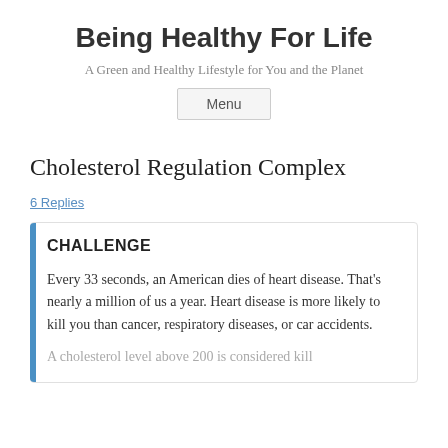Being Healthy For Life
A Green and Healthy Lifestyle for You and the Planet
Menu
Cholesterol Regulation Complex
6 Replies
CHALLENGE
Every 33 seconds, an American dies of heart disease. That’s nearly a million of us a year. Heart disease is more likely to kill you than cancer, respiratory diseases, or car accidents.